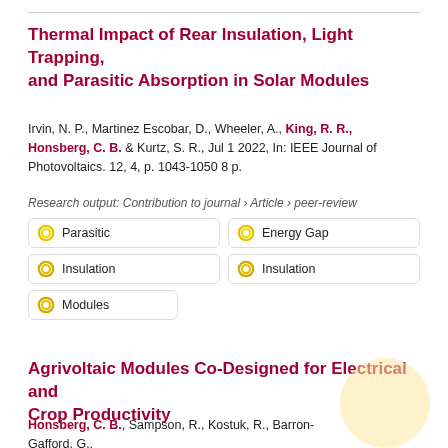Thermal Impact of Rear Insulation, Light Trapping, and Parasitic Absorption in Solar Modules
Irvin, N. P., Martinez Escobar, D., Wheeler, A., King, R. R., Honsberg, C. B. & Kurtz, S. R., Jul 1 2022, In: IEEE Journal of Photovoltaics. 12, 4, p. 1043-1050 8 p.
Research output: Contribution to journal › Article › peer-review
Parasitic
Energy Gap
Insulation
Insulation
Modules
Agrivoltaic Modules Co-Designed for Electrical and Crop Productivity
Honsberg, C. B., Sampson, R., Kostuk, R., Barron-Gafford, G., Bowden, S. & Goodnick, S., Jun 20 2021, 2021 IEEE 48th Photovoltaic Specialists Conference, PVSC 2021. Institute of